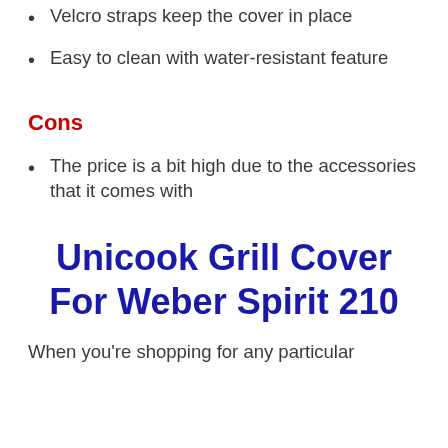Velcro straps keep the cover in place
Easy to clean with water-resistant feature
Cons
The price is a bit high due to the accessories that it comes with
Unicook Grill Cover For Weber Spirit 210
When you're shopping for any particular